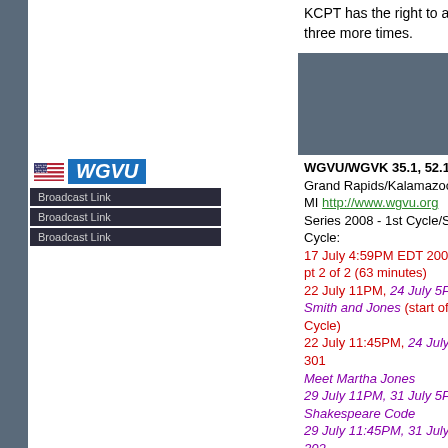KCPT has the right to all Series 2008 three more times.
[Figure (logo): WGVU TV station logo with US flag and blue WGVU text, plus three Broadcast Link buttons]
WGVU/WGVK 35.1, 52.1 Grand Rapids/Kalamazoo, MI http://www.wgvu.org Series 2008 - 1st Cycle/Series 2007 - 3rd Cycle:
17 July 4:59PM EDT 2008-13 Journey's End pt 2 of 2 (63 minutes)
22 July 11PM, 24 July 5PM EDT 2007-01 Smith and Jones (start of Series 2007 Third Cycle)
22 July 11:45PM, 24 July 5:45PM EDT DWC 301 Meet Martha Jones
29 July 11PM, 31 July 5PM EDT 2007-02 The Shakespeare Code
29 July 11:45PM, 31 July 5:45PM EDT DWC 302